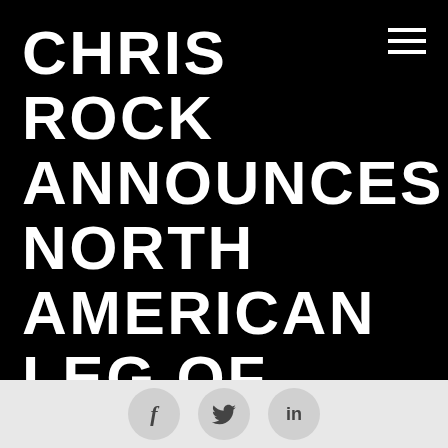CHRIS ROCK ANNOUNCES NORTH AMERICAN LEG OF EGO DEATH WORLD TOUR 2022
[Figure (other): Hamburger menu icon (three horizontal white lines) in top right corner of black header]
[Figure (other): Social media share buttons: Facebook (f), Twitter (bird), LinkedIn (in) as circular icons on light grey background]